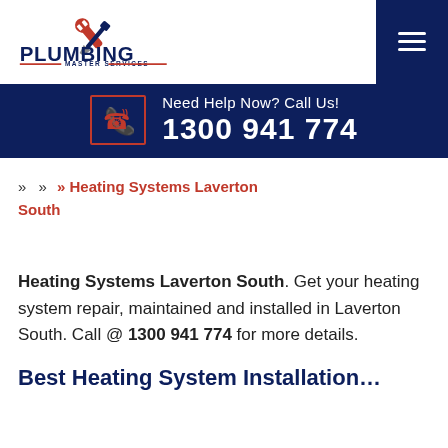[Figure (logo): Plumbing Master Services logo with wrench and screwdriver crossed icon above bold text PLUMBING and MASTER SERVICES]
Need Help Now? Call Us! 1300 941 774
» » Heating Systems Laverton South
Heating Systems Laverton South. Get your heating system repair, maintained and installed in Laverton South. Call @ 1300 941 774 for more details.
Best Heating System Installations